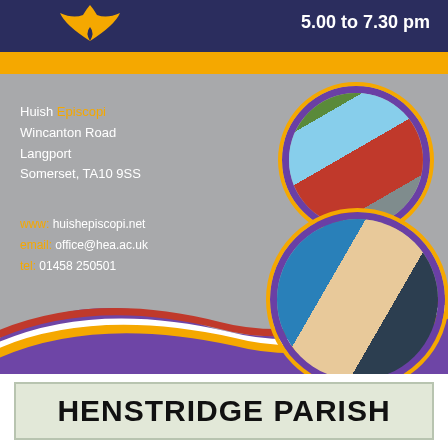5.00 to 7.30 pm
[Figure (illustration): Bird/hawk logo in gold on dark navy background]
[Figure (photo): Circular framed photograph of a school building (modern red and grey structure) with purple and gold border]
[Figure (photo): Circular framed photograph of two students studying at a desk, with purple and gold border]
Huish Episcopi
Wincanton Road
Langport
Somerset, TA10 9SS
www: huishepiscopi.net
email: office@hea.ac.uk
tel: 01458 250501
HENSTRIDGE PARISH